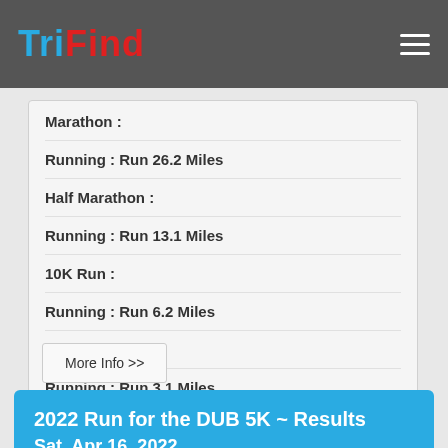TriFind
Marathon :
Running : Run 26.2 Miles
Half Marathon :
Running : Run 13.1 Miles
10K Run :
Running : Run 6.2 Miles
5K Run :
Running : Run 3.1 Miles
More Info >>
2022 Run for the DUB 5K ~ Results
Sat, Apr 16, 2022